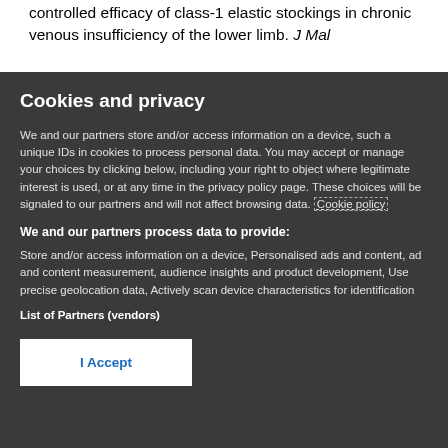controlled efficacy of class-1 elastic stockings in chronic venous insufficiency of the lower limb. J Mal
Cookies and privacy
We and our partners store and/or access information on a device, such a unique IDs in cookies to process personal data. You may accept or manage your choices by clicking below, including your right to object where legitimate interest is used, or at any time in the privacy policy page. These choices will be signaled to our partners and will not affect browsing data. Cookie policy
We and our partners process data to provide:
Store and/or access information on a device, Personalised ads and content, ad and content measurement, audience insights and product development, Use precise geolocation data, Actively scan device characteristics for identification
List of Partners (vendors)
I Accept